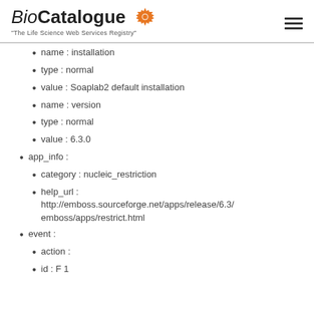BioCatalogue – The Life Science Web Services Registry
name : installation
type : normal
value : Soaplab2 default installation
name : version
type : normal
value : 6.3.0
app_info :
category : nucleic_restriction
help_url : http://emboss.sourceforge.net/apps/release/6.3/emboss/apps/restrict.html
event :
action :
id : F 1